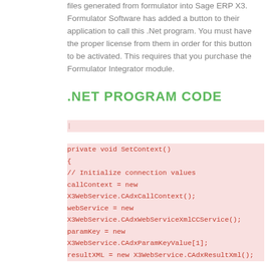files generated from formulator into Sage ERP X3. Formulator Software has added a button to their application to call this .Net program. You must have the proper license from them in order for this button to be activated. This requires that you purchase the Formulator Integrator module.
.NET PROGRAM CODE
private void SetContext()
{
// Initialize connection values
callContext = new
X3WebService.CAdxCallContext();
webService = new
X3WebService.CAdxWebServiceXmlCCService();
paramKey = new
X3WebService.CAdxParamKeyValue[1];
resultXML = new X3WebService.CAdxResultXml();